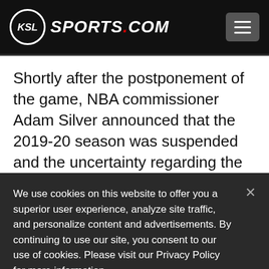KSL SPORTS.COM
Shortly after the postponement of the game, NBA commissioner Adam Silver announced that the 2019-20 season was suspended and the uncertainty regarding the coronavirus rooted in a little bit deeper.
We use cookies on this website to offer you a superior user experience, analyze site traffic, and personalize content and advertisements. By continuing to use our site, you consent to our use of cookies. Please visit our Privacy Policy for more information.